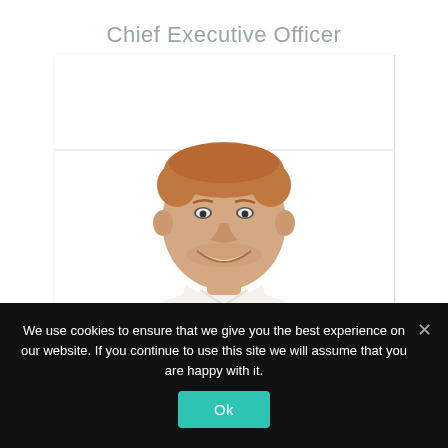Chief Executive Officer
[Figure (photo): Photo of a smiling man with short auburn hair wearing a white shirt, shown from the chest up against a white background, displayed within a card with a horizontal divider line.]
We use cookies to ensure that we give you the best experience on our website. If you continue to use this site we will assume that you are happy with it.